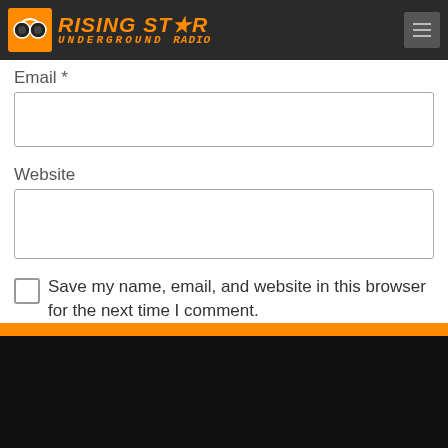[Figure (logo): Rising Star Underground Radio logo with orange text and headphones icon on dark background]
Email *
Website
Save my name, email, and website in this browser for the next time I comment.
Post Comment